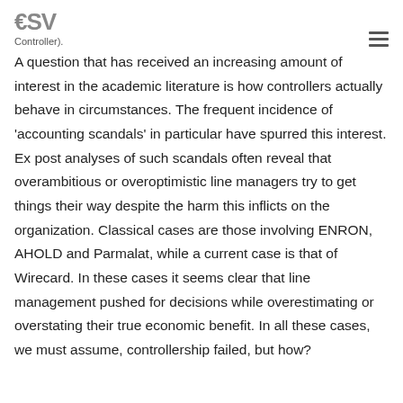ESV Controller).
A question that has received an increasing amount of interest in the academic literature is how controllers actually behave in circumstances. The frequent incidence of 'accounting scandals' in particular have spurred this interest. Ex post analyses of such scandals often reveal that overambitious or overoptimistic line managers try to get things their way despite the harm this inflicts on the organization. Classical cases are those involving ENRON, AHOLD and Parmalat, while a current case is that of Wirecard. In these cases it seems clear that line management pushed for decisions while overestimating or overstating their true economic benefit. In all these cases, we must assume, controllership failed, but how?